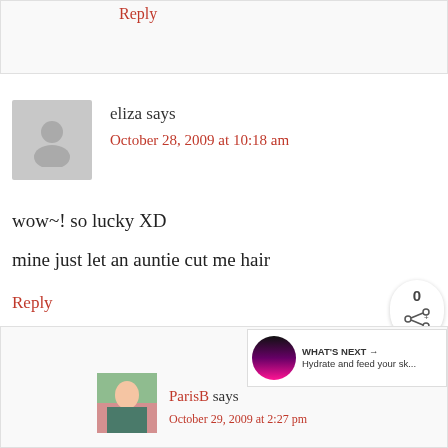Reply
eliza says
October 28, 2009 at 10:18 am
wow~! so lucky XD
mine just let an auntie cut me hair
Reply
ParisB says
October 29, 2009 at 2:27 pm